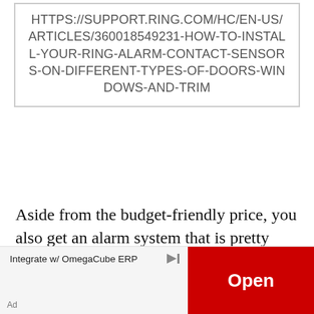HTTPS://SUPPORT.RING.COM/HC/EN-US/ARTICLES/360018549231-HOW-TO-INSTALL-YOUR-RING-ALARM-CONTACT-SENSORS-ON-DIFFERENT-TYPES-OF-DOORS-WINDOWS-AND-TRIM
Aside from the budget-friendly price, you also get an alarm system that is pretty straightforward to install. You get basic features you need to run your home security system such as battery and cellular backup during power interruptions, professional monitoring services, and easy-to-follow instructions to get your
Integrate w/ OmegaCube ERP
Open
Ad